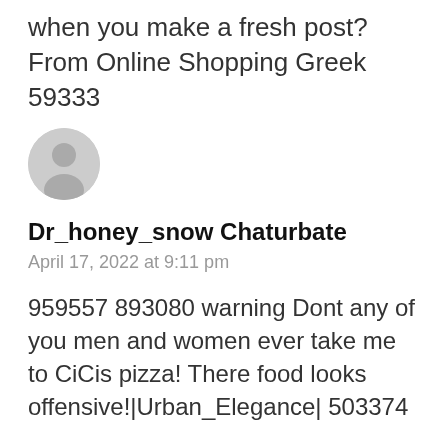when you make a fresh post? From Online Shopping Greek 59333
[Figure (illustration): Generic user avatar icon — grey circle with person silhouette]
Dr_honey_snow Chaturbate
April 17, 2022 at 9:11 pm
959557 893080 warning Dont any of you men and women ever take me to CiCis pizza! There food looks offensive!|Urban_Elegance| 503374